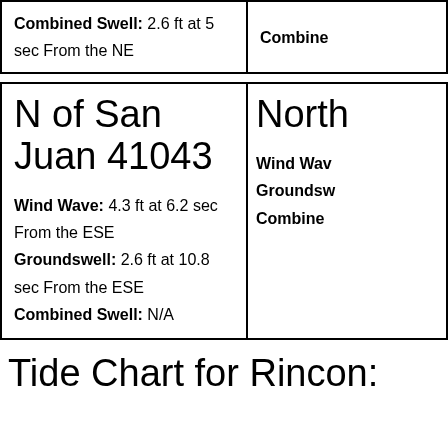Combined Swell: 2.6 ft at 5 sec From the NE
Combined Swell: [partial, cropped]
N of San Juan 41043
Wind Wave: 4.3 ft at 6.2 sec From the ESE
Groundswell: 2.6 ft at 10.8 sec From the ESE
Combined Swell: N/A
North [cropped]
Wind Wave: [cropped]
Groundswell: [cropped]
Combined Swell: [cropped]
Tide Chart for Rincon: